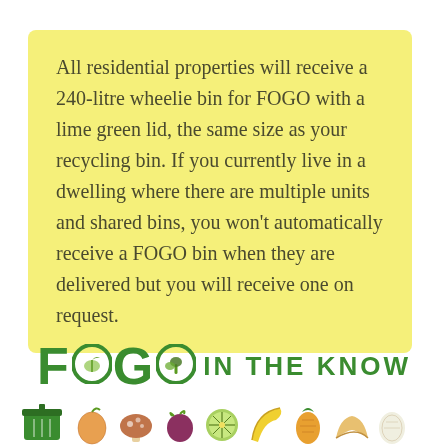All residential properties will receive a 240-litre wheelie bin for FOGO with a lime green lid, the same size as your recycling bin. If you currently live in a dwelling where there are multiple units and shared bins, you won't automatically receive a FOGO bin when they are delivered but you will receive one on request.
[Figure (logo): FOGO IN THE KNOW logo in green with circular icons replacing the O letters, and a row of food/organic waste icons below]